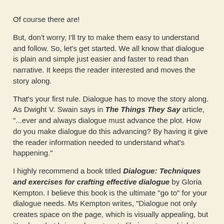Of course there are!
But, don't worry, I'll try to make them easy to understand and follow. So, let's get started. We all know that dialogue is plain and simple just easier and faster to read than narrative. It keeps the reader interested and moves the story along.
That's your first rule. Dialogue has to move the story along. As Dwight V. Swain says in The Things They Say article, "...ever and always dialogue must advance the plot. How do you make dialogue do this advancing? By having it give the reader information needed to understand what's happening."
I highly recommend a book titled Dialogue: Techniques and exercises for crafting effective dialogue by Gloria Kempton. I believe this book is the ultimate "go to" for your dialogue needs. Ms Kempton writes, "Dialogue not only creates space on the page, which is visually appealing, but it's also what brings characters to life in a story, which is emotionally appealing. We're much more interested in a story's setting when it comes through a scene of dialogue."